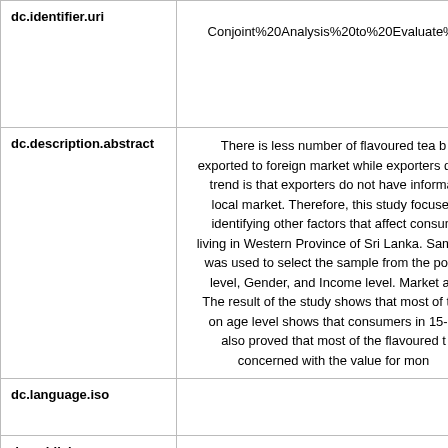| Field | Value |
| --- | --- |
| dc.identifier.uri | http://... Conjoint%20Analysis%20to%20Evaluate%20th... |
| dc.description.abstract | There is less number of flavoured tea b... exported to foreign market while exporters do n... trend is that exporters do not have informat... local market. Therefore, this study focuses ... identifying other factors that affect consum... living in Western Province of Sri Lanka. Sample... was used to select the sample from the popu... level, Gender, and Income level. Market an... The result of the study shows that most of the... on age level shows that consumers in 15- 3... also proved that most of the flavoured t... concerned with the value for mon... |
| dc.language.iso |  |
| dc.publisher |  |
| dc.subject |  |